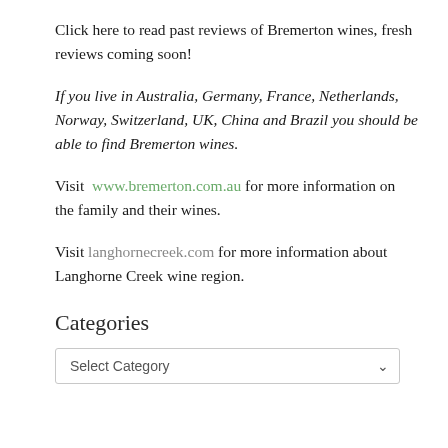Click here to read past reviews of Bremerton wines, fresh reviews coming soon!
If you live in Australia, Germany, France, Netherlands, Norway, Switzerland, UK, China and Brazil you should be able to find Bremerton wines.
Visit www.bremerton.com.au for more information on the family and their wines.
Visit langhornecreek.com for more information about Langhorne Creek wine region.
Categories
Select Category